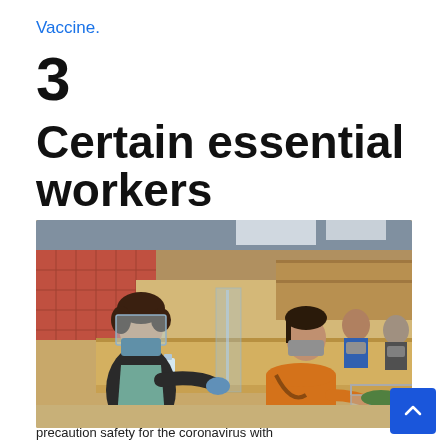Vaccine.
3
Certain essential workers
[Figure (photo): A grocery store cashier wearing a face shield and blue gloves behind a plexiglass barrier, with a customer in a mask and orange sweater reaching into a shopping cart, and masked shoppers in the background.]
precaution safety for the coronavirus with